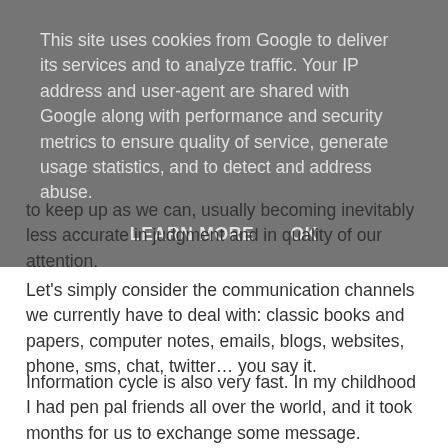This site uses cookies from Google to deliver its services and to analyze traffic. Your IP address and user-agent are shared with Google along with performance and security metrics to ensure quality of service, generate usage statistics, and to detect and address abuse.
LEARN MORE    OK
to keep up as we can, usually becoming inevitably less accurate in judgment and in quality of our attention.
Let’s simply consider the communication channels we currently have to deal with: classic books and papers, computer notes, emails, blogs, websites, phone, sms, chat, twitter… you say it.
Information cycle is also very fast. In my childhood I had pen pal friends all over the world, and it took months for us to exchange some message.
Now it takes seconds.
And this is amazing.